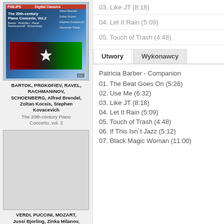[Figure (illustration): Album cover for The 20th-century Piano Concerto Vol.2, Philips label, featuring abstract colorful artwork]
BARTOK, PROKOFIEV, RAVEL, RACHMANINOV, SCHOENBERG, Alfred Brendel, Zoltan Kocsis, Stephen Kovacevich
The 20th-century Piano Concerto, vol. 2
03. Like JT (8:18)
04. Let It Rain (5:09)
05. Touch of Trash (4:48)
Utwory | Wykonawcy
Patricia Barber - Companion
01. The Beat Goes On (5:26)
02. Use Me (6:32)
03. Like JT (8:18)
04. Let It Rain (5:09)
05. Touch of Trash (4:48)
06. If This Isn`t Jazz (5:12)
07. Black Magic Woman (11:00)
[Figure (illustration): Album cover placeholder for Verdi, Puccini, Mozart album - light grey rectangle]
VERDI, PUCCINI, MOZART, Jussi Bjorling, Zinka Milanov, Enrico Barbieri...